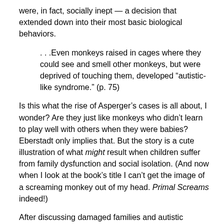were, in fact, socially inept — a decision that extended down into their most basic biological behaviors.
. . .Even monkeys raised in cages where they could see and smell other monkeys, but were deprived of touching them, developed “autistic-like syndrome.” (p. 75)
Is this what the rise of Asperger’s cases is all about, I wonder? Are they just like monkeys who didn’t learn to play well with others when they were babies? Eberstadt only implies that. But the story is a cute illustration of what might result when children suffer from family dysfunction and social isolation. (And now when I look at the book’s title I can’t get the image of a screaming monkey out of my head. Primal Screams indeed!)
After discussing damaged families and autistic monkeys, Eberstadt segues uncomfortably into a talk about the #MeToo movement. She wants to make the argument that this trend — of young and middle-aged women coming forth to say they were sexually used and abused by men in positions of power — is a product of the same